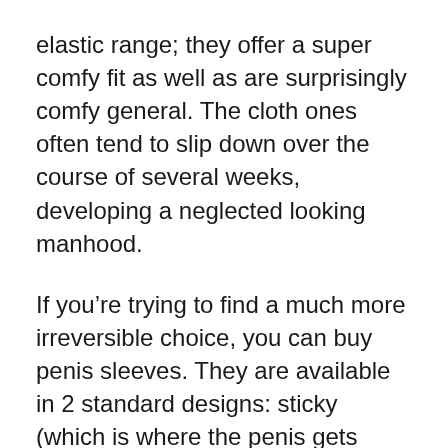elastic range; they offer a super comfy fit as well as are surprisingly comfy general. The cloth ones often tend to slip down over the course of several weeks, developing a neglected looking manhood.
If you're trying to find a much more irreversible choice, you can buy penis sleeves. They are available in 2 standard designs: sticky (which is where the penis gets stayed with the sleeve) as well as nonstick. If you do not care regarding showing your sleeve off, sticky variations are fine, but if you're seeking a much more all-natural look, I suggest going with the nons sticky ones. As a result of the nature of the product, you can get made use of to using it almost on a daily basis. Some individuals